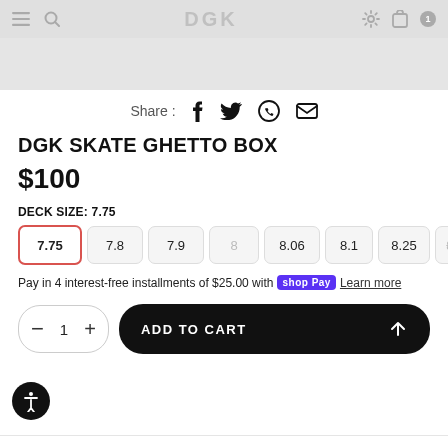DGK navigation bar with menu, search, logo, settings, cart icons
[Figure (screenshot): Product image area (gray background, partially visible)]
Share : [facebook] [twitter] [whatsapp] [email]
DGK SKATE GHETTO BOX
$100
DECK SIZE: 7.75
Size options: 7.75 (selected), 7.8, 7.9, 8, 8.06, 8.1, 8.25, 8.38 (unavailable)
Pay in 4 interest-free installments of $25.00 with shop Pay Learn more
Quantity: 1  ADD TO CART